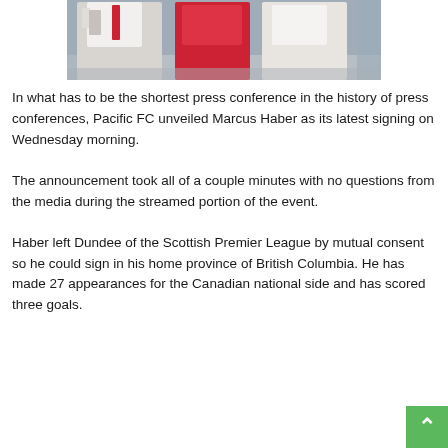[Figure (photo): Soccer players in white and red uniforms on a field, partial view showing torsos and legs]
In what has to be the shortest press conference in the history of press conferences, Pacific FC unveiled Marcus Haber as its latest signing on Wednesday morning.
The announcement took all of a couple minutes with no questions from the media during the streamed portion of the event.
Haber left Dundee of the Scottish Premier League by mutual consent so he could sign in his home province of British Columbia. He has made 27 appearances for the Canadian national side and has scored three goals.